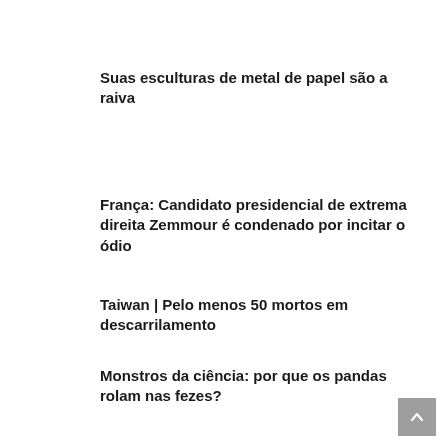Suas esculturas de metal de papel são a raiva
França: Candidato presidencial de extrema direita Zemmour é condenado por incitar o ódio
Taiwan | Pelo menos 50 mortos em descarrilamento
Monstros da ciência: por que os pandas rolam nas fezes?